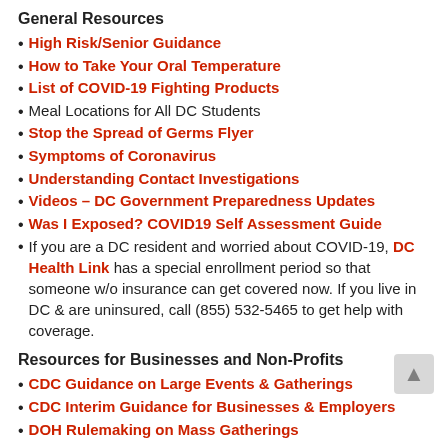General Resources
High Risk/Senior Guidance
How to Take Your Oral Temperature
List of COVID-19 Fighting Products
Meal Locations for All DC Students
Stop the Spread of Germs Flyer
Symptoms of Coronavirus
Understanding Contact Investigations
Videos – DC Government Preparedness Updates
Was I Exposed? COVID19 Self Assessment Guide
If you are a DC resident and worried about COVID-19, DC Health Link has a special enrollment period so that someone w/o insurance can get covered now. If you live in DC & are uninsured, call (855) 532-5465 to get help with coverage.
Resources for Businesses and Non-Profits
CDC Guidance on Large Events & Gatherings
CDC Interim Guidance for Businesses & Employers
DOH Rulemaking on Mass Gatherings